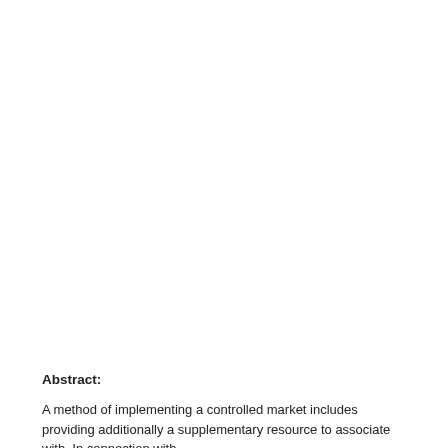Abstract:
A method of implementing a controlled market includes providing additionally a supplementary resource to associate with. In connection with